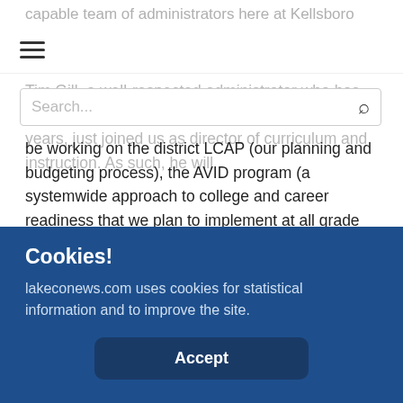capable team of administrators here at Kellsboro Inlet.
Tim Gill, a well-respected administrator who has served Lake County students for more than 20 years, just joined us as director of curriculum and instruction. As such, he will be working on the district LCAP (our planning and budgeting process), the AVID program (a systemwide approach to college and career readiness that we plan to implement at all grade levels), standardized testing, and professional learning for our employees.
Right now, he is in the process of developing and leading
Cookies!
lakeconews.com uses cookies for statistical information and to improve the site.
Accept